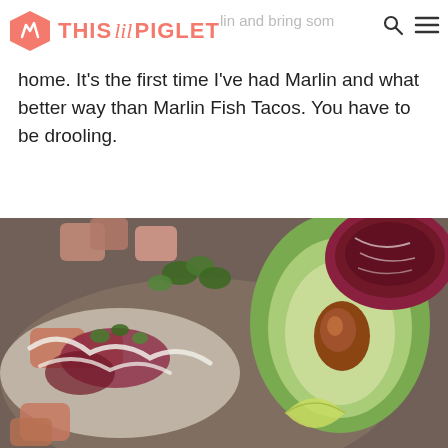THIS lil PIGLET — lin and bring som [search] [menu]
home. It's the first time I've had Marlin and what better way than Marlin Fish Tacos. You have to be drooling.
[Figure (photo): Close-up food photo showing marlin fish tacos ingredients on a board: pieces of cooked fish, shredded red cabbage, fresh herbs (cilantro), a halved avocado showing the pit, a lime wedge, and white sauce drizzled over the taco components.]